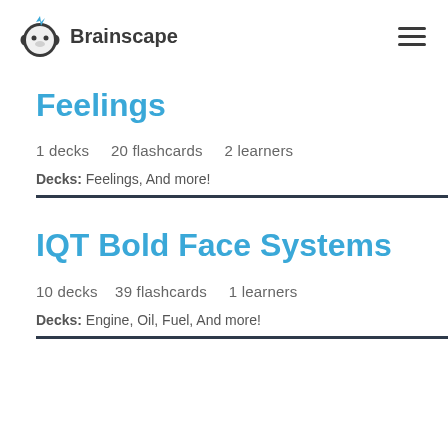Brainscape
Feelings
1 decks   20 flashcards   2 learners
Decks: Feelings, And more!
IQT Bold Face Systems
10 decks   39 flashcards   1 learners
Decks: Engine, Oil, Fuel, And more!